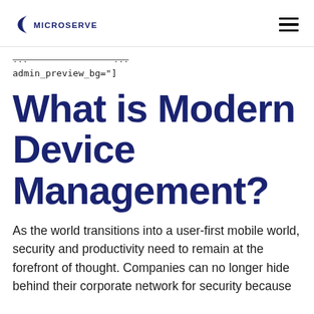MICROSERVE
admin_preview_bg="]
What is Modern Device Management?
As the world transitions into a user-first mobile world, security and productivity need to remain at the forefront of thought. Companies can no longer hide behind their corporate network for security because